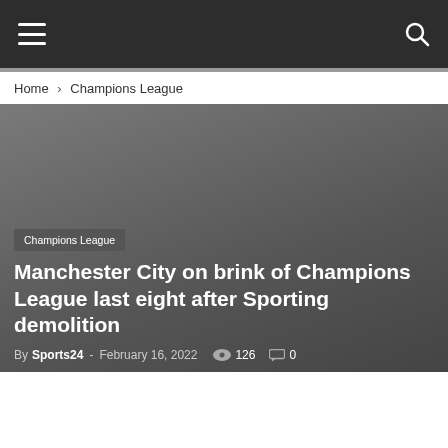Navigation bar with hamburger menu and search icon
Home › Champions League
[Figure (photo): Dark gray hero image background for article]
Champions League
Manchester City on brink of Champions League last eight after Sporting demolition
By Sports24 - February 16, 2022  126  0